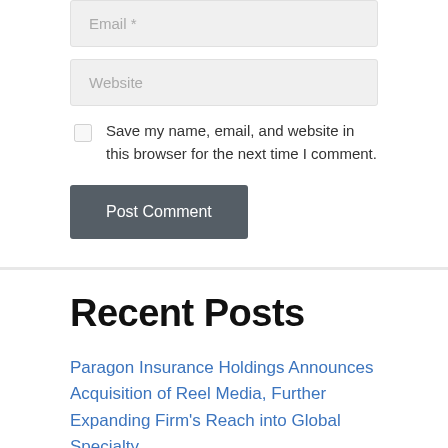Email *
Website
Save my name, email, and website in this browser for the next time I comment.
Post Comment
Recent Posts
Paragon Insurance Holdings Announces Acquisition of Reel Media, Further Expanding Firm's Reach into Global Specialty